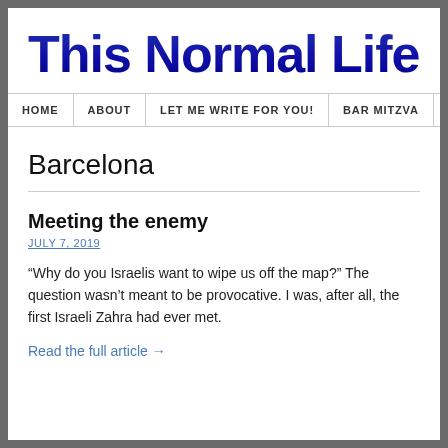This Normal Life
HOME | ABOUT | LET ME WRITE FOR YOU! | BAR MITZVA...
Barcelona
Meeting the enemy
JULY 7, 2019
“Why do you Israelis want to wipe us off the map?” The question wasn’t meant to be provocative. I was, after all, the first Israeli Zahra had ever met.
Read the full article →